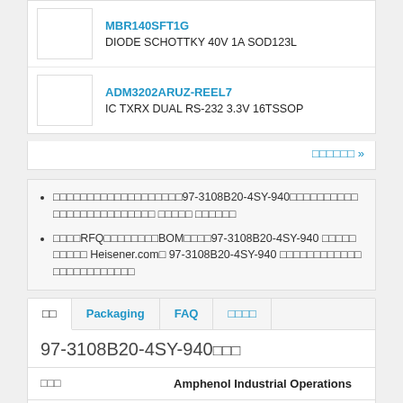MBR140SFT1G
DIODE SCHOTTKY 40V 1A SOD123L
ADM3202ARUZ-REEL7
IC TXRX DUAL RS-232 3.3V 16TSSOP
□□□□□□ »
□□□□□□□□□□□□□□□□□□□97-3108B20-4SY-940□□□□□□□□□□□□□□□□□□□□□□□□□ □□□□□ □□□□□□
□□□□RFQ□□□□□□□□BOM□□□□97-3108B20-4SY-940 □□□□□□□□□□ Heisener.com□ 97-3108B20-4SY-940 □□□□□□□□□□□□□□□□□□□□□□□□
□□	Packaging	FAQ	□□□□
97-3108B20-4SY-940□□□
| □□□ | Amphenol Industrial Operations |
| --- | --- |
| □□ | □□□□□□□□□ - □□□□□□ |